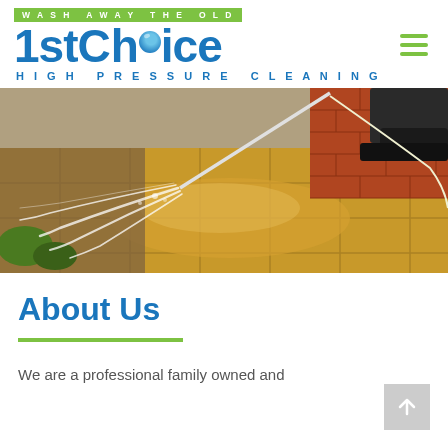[Figure (logo): 1stChoice High Pressure Cleaning logo with green tagline 'WASH AWAY THE OLD' above and blue stylized text]
[Figure (photo): Person using high-pressure water jet to clean outdoor tiled patio/driveway next to brick wall]
About Us
We are a professional family owned and